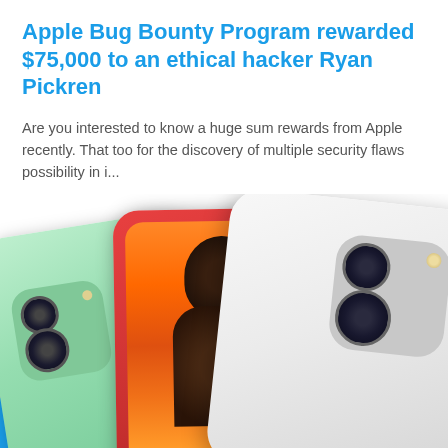Apple Bug Bounty Program rewarded $75,000 to an ethical hacker Ryan Pickren
Are you interested to know a huge sum rewards from Apple recently. That too for the discovery of multiple security flaws possibility in i...
[Figure (photo): Image showing three iPhones (green, red/coral, and white) with dual camera modules, fanned out against each other. The red/coral iPhone in the middle shows a person on screen.]
RECENT POSTS
ARCHIVES